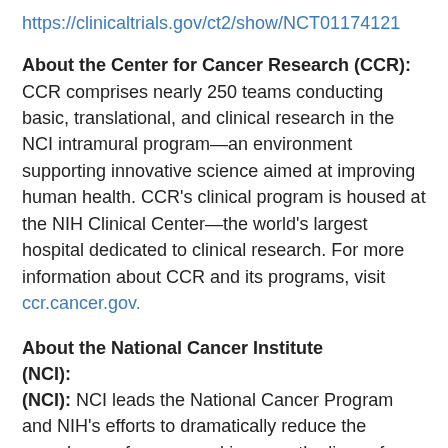https://clinicaltrials.gov/ct2/show/NCT01174121
About the Center for Cancer Research (CCR): CCR comprises nearly 250 teams conducting basic, translational, and clinical research in the NCI intramural program—an environment supporting innovative science aimed at improving human health. CCR's clinical program is housed at the NIH Clinical Center—the world's largest hospital dedicated to clinical research. For more information about CCR and its programs, visit ccr.cancer.gov.
About the National Cancer Institute (NCI):
NCI leads the National Cancer Program and NIH's efforts to dramatically reduce the prevalence of cancer and improve the lives of cancer patients and their families, through research into prevention and cancer biology, the development of new interventions, and the training and mentoring of new researchers. For